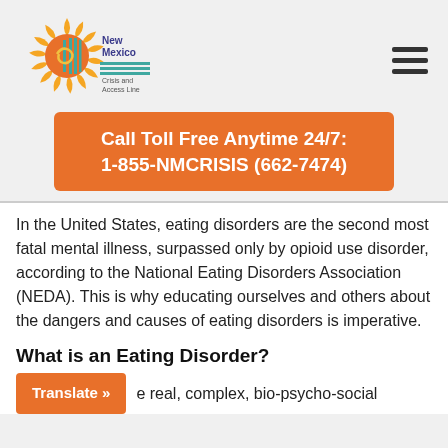[Figure (logo): New Mexico Crisis and Access Line logo with sun and geometric design]
Call Toll Free Anytime 24/7: 1-855-NMCRISIS (662-7474)
In the United States, eating disorders are the second most fatal mental illness, surpassed only by opioid use disorder, according to the National Eating Disorders Association (NEDA). This is why educating ourselves and others about the dangers and causes of eating disorders is imperative.
What is an Eating Disorder?
Eating disorders are real, complex, bio-psycho-social